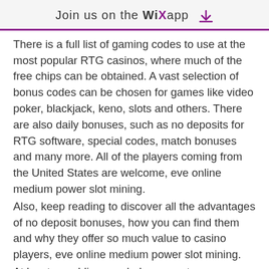Join us on the WiX app
There is a full list of gaming codes to use at the most popular RTG casinos, where much of the free chips can be obtained. A vast selection of bonus codes can be chosen for games like video poker, blackjack, keno, slots and others. There are also daily bonuses, such as no deposits for RTG software, special codes, match bonuses and many more. All of the players coming from the United States are welcome, eve online medium power slot mining.
Also, keep reading to discover all the advantages of no deposit bonuses, how you can find them and why they offer so much value to casino players, eve online medium power slot mining.
At least, gambling regularly may get you some bonuses but not as high as a welcome bonus. One thing with online casino bonus for a new player is that you cannot withdraw...